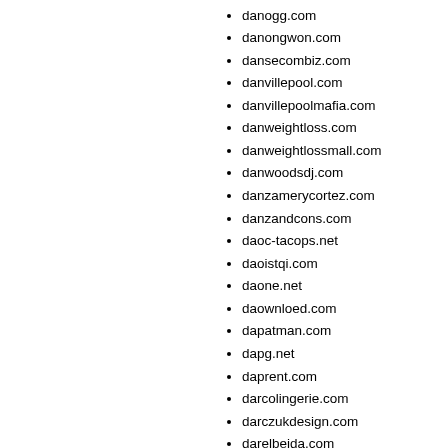danogg.com
danongwon.com
dansecombiz.com
danvillepool.com
danvillepoolmafia.com
danweightloss.com
danweightlossmall.com
danwoodsdj.com
danzamerycortez.com
danzandcons.com
daoc-tacops.net
daoistqi.com
daone.net
daownloed.com
dapatman.com
dapg.net
daprent.com
darcolingerie.com
darczukdesign.com
darelbeida.com
daretsuitcase.com
dark-adapted.net
dark-clothing.com
dark951shadowz.com
darkborn.com
darkcrossroads.com
darkhillcity.com
darkinvesting.com